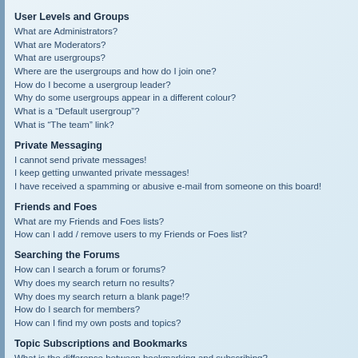User Levels and Groups
What are Administrators?
What are Moderators?
What are usergroups?
Where are the usergroups and how do I join one?
How do I become a usergroup leader?
Why do some usergroups appear in a different colour?
What is a “Default usergroup”?
What is “The team” link?
Private Messaging
I cannot send private messages!
I keep getting unwanted private messages!
I have received a spamming or abusive e-mail from someone on this board!
Friends and Foes
What are my Friends and Foes lists?
How can I add / remove users to my Friends or Foes list?
Searching the Forums
How can I search a forum or forums?
Why does my search return no results?
Why does my search return a blank page!?
How do I search for members?
How can I find my own posts and topics?
Topic Subscriptions and Bookmarks
What is the difference between bookmarking and subscribing?
How do I subscribe to specific forums or topics?
How do I remove my subscriptions?
Attachments
What attachments are allowed on this board?